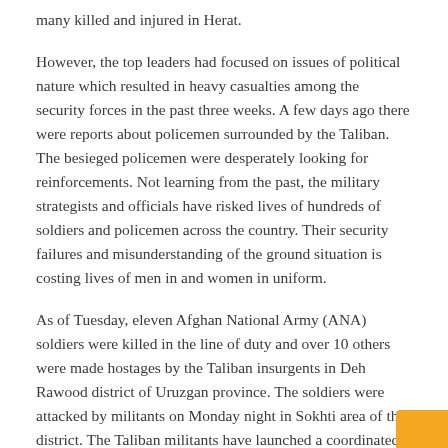many killed and injured in Herat.
However, the top leaders had focused on issues of political nature which resulted in heavy casualties among the security forces in the past three weeks. A few days ago there were reports about policemen surrounded by the Taliban. The besieged policemen were desperately looking for reinforcements. Not learning from the past, the military strategists and officials have risked lives of hundreds of soldiers and policemen across the country. Their security failures and misunderstanding of the ground situation is costing lives of men in and women in uniform.
As of Tuesday, eleven Afghan National Army (ANA) soldiers were killed in the line of duty and over 10 others were made hostages by the Taliban insurgents in Deh Rawood district of Uruzgan province. The soldiers were attacked by militants on Monday night in Sokhti area of the district. The Taliban militants have launched a coordinated attack on the ANA base in the area to capture it. The base contained heavy and light weapons and equipment which would help the insurgents in the coming battles against security forces. The mismanagement is causing human and financial losses.